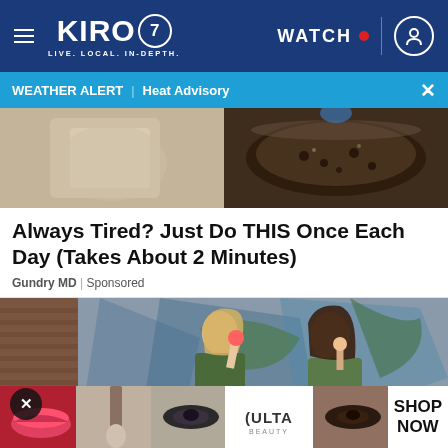KIRO 7 — LIVE. LOCAL. IN-DEPTH. | WATCH
WEATHER ALERT | Heat Advisory
[Figure (photo): Two side-by-side photos: left shows a light-colored garment/fabric, right shows a dark bowl of food]
Always Tired? Just Do THIS Once Each Day (Takes About 2 Minutes)
Gundry MD | Sponsored
[Figure (photo): Two young women standing in front of a colorful graffiti wall, one holding an ice cream and the other eating something; brick wall visible on left]
[Figure (photo): Bottom ad strip showing beauty/makeup images including lips, brush, eyes, ULTA Beauty logo, and eye makeup photos with SHOP NOW text]